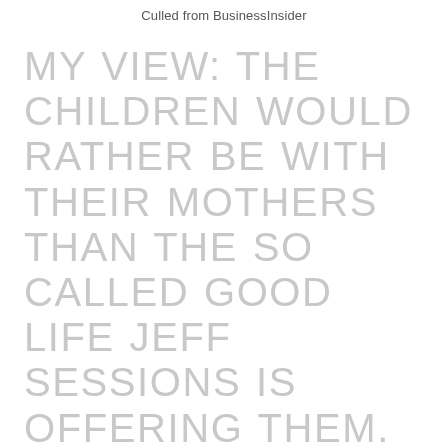Culled from BusinessInsider
MY VIEW: THE CHILDREN WOULD RATHER BE WITH THEIR MOTHERS THAN THE SO CALLED GOOD LIFE JEFF SESSIONS IS OFFERING THEM. GRANDPA JEFF DOESNT HAVE A CLUE ABOUT THE IMPORTANCE OF PARENTAL LOVE, AS HES SO HARD HEARTED AND WICKED. THE ONL Y REASON WHY TRUMP SEPARATING THE KIDS AS